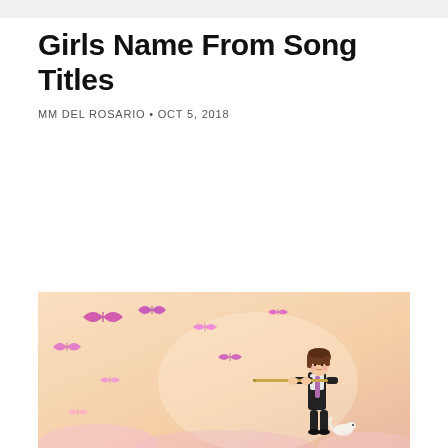Girls Name From Song Titles
MM DEL ROSARIO • OCT 5, 2018
[Figure (illustration): Anime-style illustration of a girl playing a flute with pink butterflies flying around her, on a warm peach-toned background]